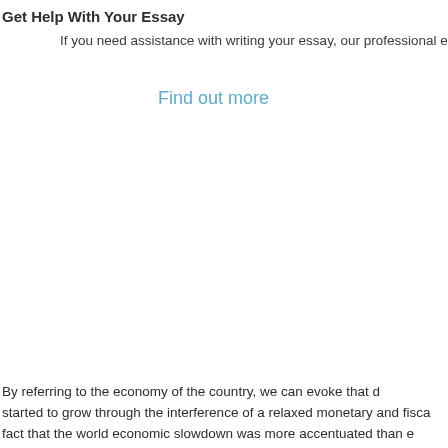Get Help With Your Essay
If you need assistance with writing your essay, our professional essa
Find out more
By referring to the economy of the country, we can evoke that d started to grow through the interference of a relaxed monetary and fisca fact that the world economic slowdown was more accentuated than e